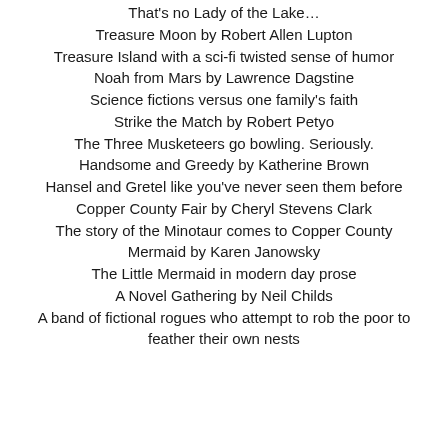That's no Lady of the Lake…
Treasure Moon by Robert Allen Lupton
Treasure Island with a sci-fi twisted sense of humor
Noah from Mars by Lawrence Dagstine
Science fictions versus one family's faith
Strike the Match by Robert Petyo
The Three Musketeers go bowling. Seriously.
Handsome and Greedy by Katherine Brown
Hansel and Gretel like you've never seen them before
Copper County Fair by Cheryl Stevens Clark
The story of the Minotaur comes to Copper County
Mermaid by Karen Janowsky
The Little Mermaid in modern day prose
A Novel Gathering by Neil Childs
A band of fictional rogues who attempt to rob the poor to feather their own nests